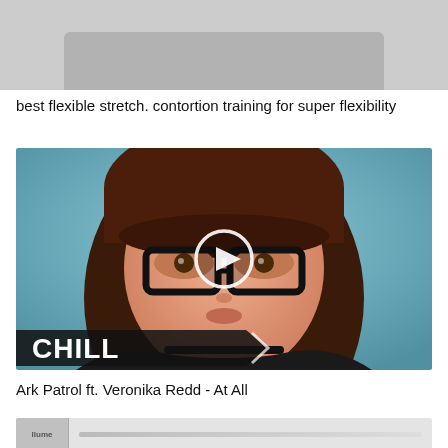[Figure (screenshot): Top portion of a video thumbnail, cropped — gray background with a rounded rectangular shape visible at bottom.]
best flexible stretch. contortion training for super flexibility
[Figure (illustration): Digital illustration of an anime-style girl with brown hair and black-framed glasses, teal background. A white play button circle is overlaid in the center. A dark banner at the bottom reads 'CHILL' in bold white letters with an arrow/chevron shape.]
Ark Patrol ft. Veronika Redd - At All
[Figure (screenshot): Bottom portion of another video thumbnail, partially visible — light background with small text/logo element on left.]